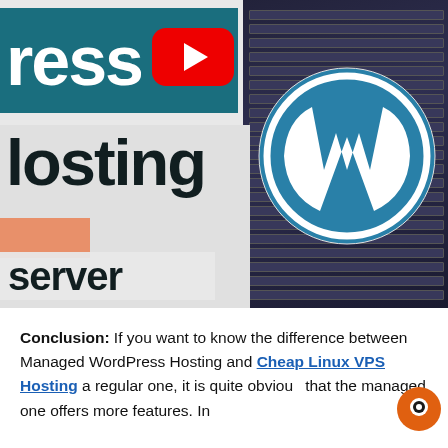[Figure (screenshot): WordPress hosting video thumbnail showing partial text 'ress' in white on teal banner, 'losting' in dark text below, 'server' in dark text on light background, WordPress logo (W in circle) on right, YouTube play button icon, and server rack background on right side]
Conclusion: If you want to know the difference between Managed WordPress Hosting and Cheap Linux VPS Hosting a regular one, it is quite obvious that the managed one offers more features. In